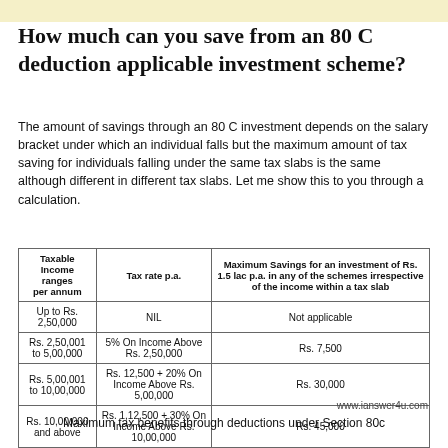How much can you save from an 80 C deduction applicable investment scheme?
The amount of savings through an 80 C investment depends on the salary bracket under which an individual falls but the maximum amount of tax saving for individuals falling under the same tax slabs is the same although different in different tax slabs. Let me show this to you through a calculation.
| Taxable Income ranges per annum | Tax rate p.a. | Maximum Savings for an investment of Rs. 1.5 lac p.a. in any of the schemes irrespective of the income within a tax slab |
| --- | --- | --- |
| Up to Rs. 2,50,000 | NIL | Not applicable |
| Rs. 2,50,001 to 5,00,000 | 5% On Income Above Rs. 2,50,000 | Rs. 7,500 |
| Rs. 5,00,001 to 10,00,000 | Rs. 12,500 + 20% On Income Above Rs. 5,00,000 | Rs. 30,000 |
| Rs. 10,00,000 and above | Rs. 1,12,500 + 30% On Income Above Rs. 10,00,000 | Rs. 45,000 |
www.ianswer4u.com
Maximum tax benefits through deductions under Section 80c